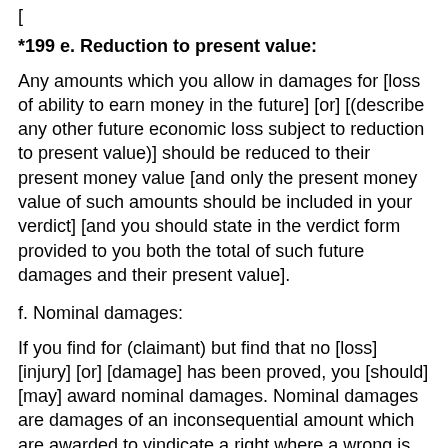[......]
*199 e. Reduction to present value:
Any amounts which you allow in damages for [loss of ability to earn money in the future] [or] [(describe any other future economic loss subject to reduction to present value)] should be reduced to their present money value [and only the present money value of such amounts should be included in your verdict] [and you should state in the verdict form provided to you both the total of such future damages and their present value].
f. Nominal damages:
If you find for (claimant) but find that no [loss] [injury] [or] [damage] has been proved, you [should] [may] award nominal damages. Nominal damages are damages of an inconsequential amount which are awarded to vindicate a right where a wrong is